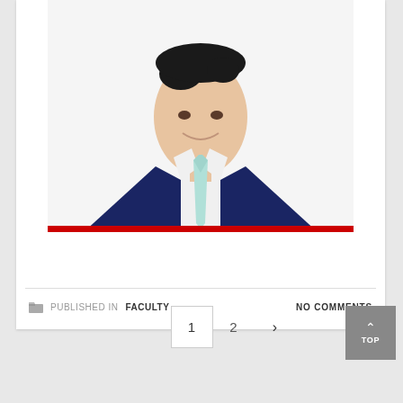[Figure (photo): Headshot of a young Asian man in a navy blue suit with a light blue/mint tie and white shirt, smiling, cropped at chest level. A red horizontal bar appears at the bottom of the photo.]
PUBLISHED IN FACULTY    NO COMMENTS
1  2  >
TOP